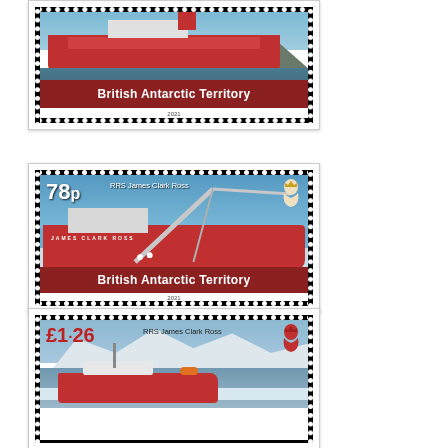[Figure (illustration): Partial view of a British Antarctic Territory postage stamp showing a red ship (RRS) against a background with 'British Antarctic Territory' text on a dark red banner, dated 2021]
[Figure (illustration): British Antarctic Territory postage stamp, 78p denomination, showing RRS James Clark Ross with a large crane arm extended, red hull visible, set in icy Antarctic waters. Queen's silhouette top right. 'British Antarctic Territory' on red banner. Year 2021.]
[Figure (illustration): British Antarctic Territory postage stamp, £1.26 denomination, showing RRS James Clark Ross vessel in Antarctic waters with snow-covered mountains behind. Queen's silhouette top right. Partial view (cut off at bottom).]